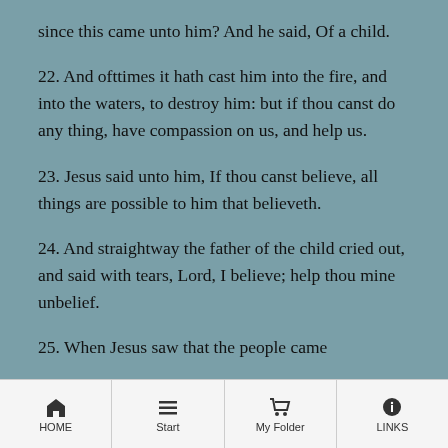since this came unto him? And he said, Of a child.
22. And ofttimes it hath cast him into the fire, and into the waters, to destroy him: but if thou canst do any thing, have compassion on us, and help us.
23. Jesus said unto him, If thou canst believe, all things are possible to him that believeth.
24. And straightway the father of the child cried out, and said with tears, Lord, I believe; help thou mine unbelief.
25. When Jesus saw that the people came
HOME  Start  My Folder  LINKS